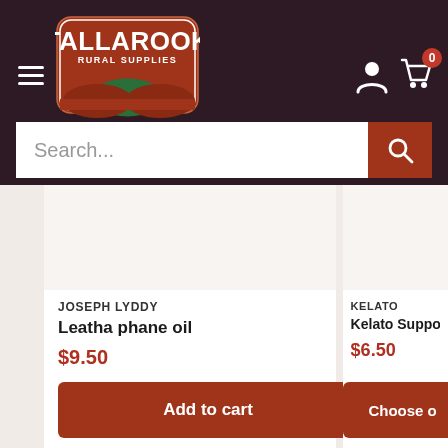[Figure (logo): Tallarook Rural Supplies logo — red rounded rectangle with white text TALLAROOK RURAL SUPPLIES and green/red wave illustration]
[Figure (screenshot): Search bar with placeholder text 'Search...' and red search button with magnifying glass icon]
JOSEPH LYDDY
Leatha phane oil
$9.50
Add to cart
KELATO
Kelato Support / En...
$6.50
Choose o...